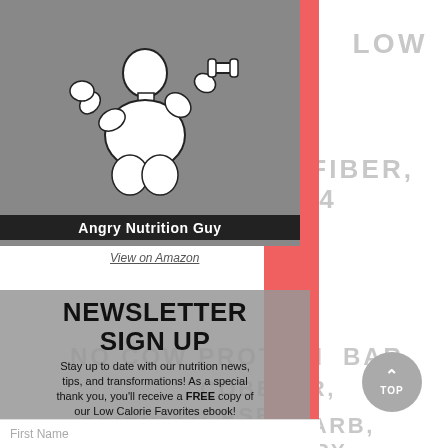[Figure (screenshot): Website screenshot showing the Angry Nutrition Guy logo with a bodybuilder illustration, background watermark text with protein bar product keywords, a red vertical stripe overlay, a newsletter signup panel, and a 'TOP' scroll button.]
View on Amazon
NEWSLETTER SIGN UP
Stay up to date with our nutrition news, tips, and transformations! As a special thank you, you'll receive a FREE copy of our Low Calorie Favorites ebook!
First Name